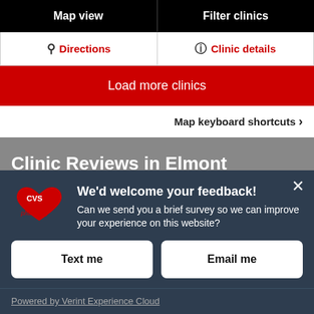Map view
Filter clinics
Directions
Clinic details
Load more clinics
Map keyboard shortcuts >
Clinic Reviews in Elmont
We'd welcome your feedback! Can we send you a brief survey so we can improve your experience on this website?
Text me
Email me
Powered by Verint Experience Cloud